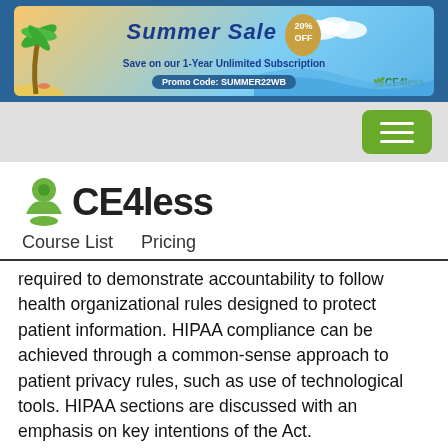[Figure (infographic): CE4less Summer Sale banner ad showing 20% OFF on 1-Year Unlimited Subscription with promo code SUMMER22WB, tropical beach theme with palm trees]
[Figure (other): Green hamburger menu button on gray navigation bar]
[Figure (logo): CE4less logo with green tree/plant icon]
Course List    Pricing
required to demonstrate accountability to follow health organizational rules designed to protect patient information. HIPAA compliance can be achieved through a common-sense approach to patient privacy rules, such as use of technological tools. HIPAA sections are discussed with an emphasis on key intentions of the Act.